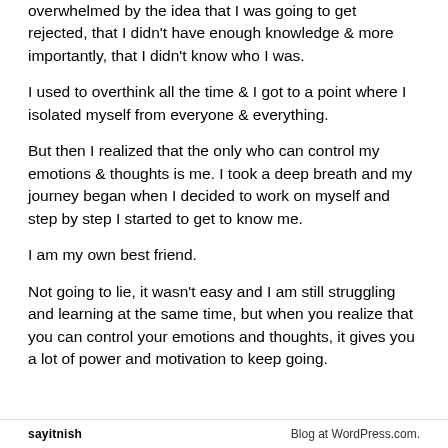overwhelmed by the idea that I was going to get rejected, that I didn't have enough knowledge & more importantly, that I didn't know who I was.
I used to overthink all the time & I got to a point where I isolated myself from everyone & everything.
But then I realized that the only who can control my emotions & thoughts is me. I took a deep breath and my journey began when I decided to work on myself and step by step I started to get to know me.
I am my own best friend.
Not going to lie, it wasn't easy and I am still struggling and learning at the same time, but when you realize that you can control your emotions and thoughts, it gives you a lot of power and motivation to keep going.
sayitnish    Blog at WordPress.com.